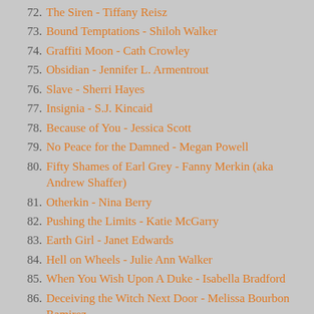72. The Siren - Tiffany Reisz
73. Bound Temptations - Shiloh Walker
74. Graffiti Moon - Cath Crowley
75. Obsidian - Jennifer L. Armentrout
76. Slave - Sherri Hayes
77. Insignia - S.J. Kincaid
78. Because of You - Jessica Scott
79. No Peace for the Damned - Megan Powell
80. Fifty Shames of Earl Grey - Fanny Merkin (aka Andrew Shaffer)
81. Otherkin - Nina Berry
82. Pushing the Limits - Katie McGarry
83. Earth Girl - Janet Edwards
84. Hell on Wheels - Julie Ann Walker
85. When You Wish Upon A Duke - Isabella Bradford
86. Deceiving the Witch Next Door - Melissa Bourbon Ramirez
87. God Save the Queen - Kate Locke
88. ReVamped - Ada Adams